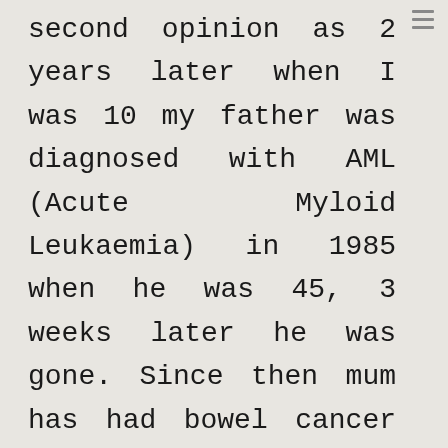second opinion as 2 years later when I was 10 my father was diagnosed with AML (Acute Myloid Leukaemia) in 1985 when he was 45, 3 weeks later he was gone. Since then mum has had bowel cancer twice, another melanoma & thyroid cancer. April last year 2012 she was diagnosed with Stage 4 NHLymphoma (there is no